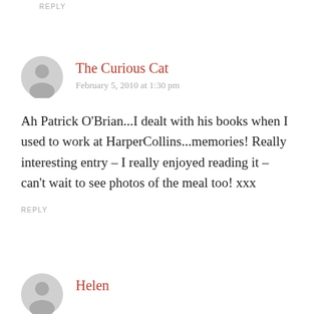REPLY
The Curious Cat
February 5, 2010 at 1:30 pm
Ah Patrick O'Brian...I dealt with his books when I used to work at HarperCollins...memories! Really interesting entry – I really enjoyed reading it – can't wait to see photos of the meal too! xxx
REPLY
Helen